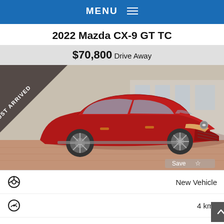MENU ≡
2022 Mazda CX-9 GT TC
$70,800 Drive Away
[Figure (photo): Red 2022 Mazda CX-9 GT TC SUV parked at dealership, with 'JUST ARRIVED' diagonal banner in top-left corner and a 'Save' button overlay at bottom-right.]
New Vehicle
4 kms